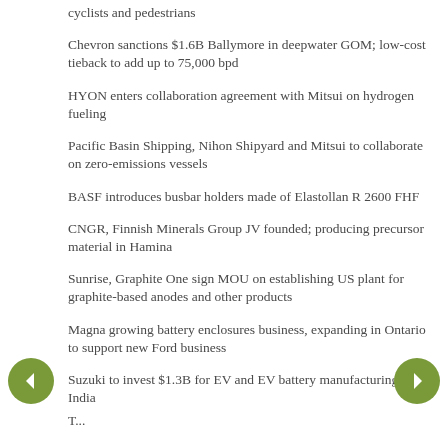cyclists and pedestrians
Chevron sanctions $1.6B Ballymore in deepwater GOM; low-cost tieback to add up to 75,000 bpd
HYON enters collaboration agreement with Mitsui on hydrogen fueling
Pacific Basin Shipping, Nihon Shipyard and Mitsui to collaborate on zero-emissions vessels
BASF introduces busbar holders made of Elastollan R 2600 FHF
CNGR, Finnish Minerals Group JV founded; producing precursor material in Hamina
Sunrise, Graphite One sign MOU on establishing US plant for graphite-based anodes and other products
Magna growing battery enclosures business, expanding in Ontario to support new Ford business
Suzuki to invest $1.3B for EV and EV battery manufacturing in India
To...